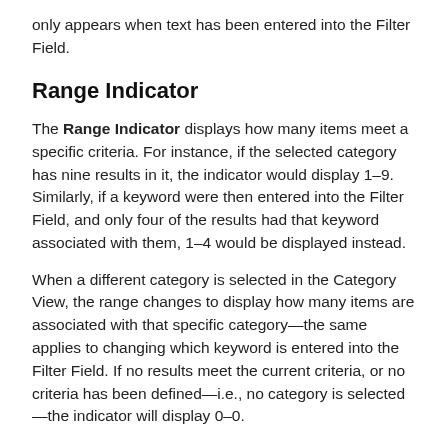only appears when text has been entered into the Filter Field.
Range Indicator
The Range Indicator displays how many items meet a specific criteria. For instance, if the selected category has nine results in it, the indicator would display 1–9. Similarly, if a keyword were then entered into the Filter Field, and only four of the results had that keyword associated with them, 1–4 would be displayed instead.
When a different category is selected in the Category View, the range changes to display how many items are associated with that specific category—the same applies to changing which keyword is entered into the Filter Field. If no results meet the current criteria, or no criteria has been defined—i.e., no category is selected—the indicator will display 0–0.